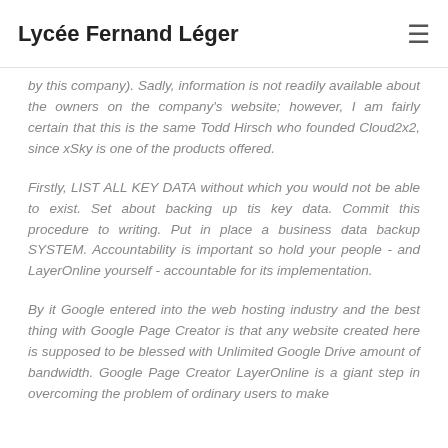Lycée Fernand Léger
by this company). Sadly, information is not readily available about the owners on the company's website; however, I am fairly certain that this is the same Todd Hirsch who founded Cloud2x2, since xSky is one of the products offered.
Firstly, LIST ALL KEY DATA without which you would not be able to exist. Set about backing up tis key data. Commit this procedure to writing. Put in place a business data backup SYSTEM. Accountability is important so hold your people - and LayerOnline yourself - accountable for its implementation.
By it Google entered into the web hosting industry and the best thing with Google Page Creator is that any website created here is supposed to be blessed with Unlimited Google Drive amount of bandwidth. Google Page Creator LayerOnline is a giant step in overcoming the problem of ordinary users to make